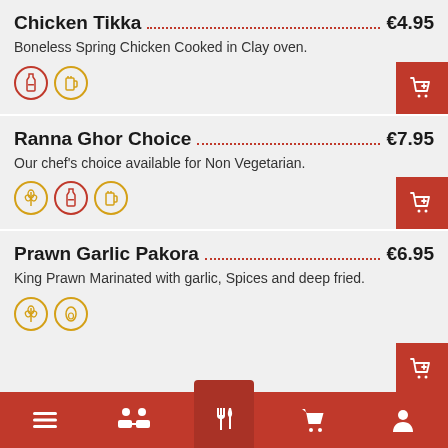Chicken Tikka €4.95 — Boneless Spring Chicken Cooked in Clay oven.
Ranna Ghor Choice €7.95 — Our chef's choice available for Non Vegetarian.
Prawn Garlic Pakora €6.95 — King Prawn Marinated with garlic, Spices and deep fried.